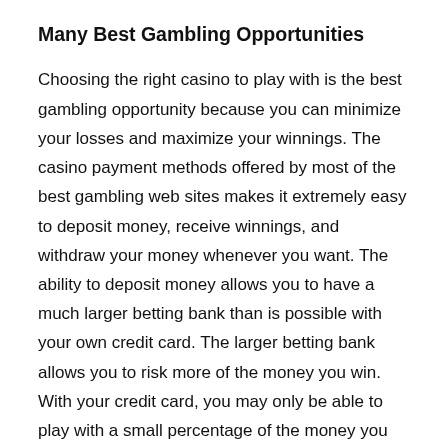Many Best Gambling Opportunities
Choosing the right casino to play with is the best gambling opportunity because you can minimize your losses and maximize your winnings. The casino payment methods offered by most of the best gambling web sites makes it extremely easy to deposit money, receive winnings, and withdraw your money whenever you want. The ability to deposit money allows you to have a much larger betting bank than is possible with your own credit card. The larger betting bank allows you to risk more of the money you win. With your credit card, you may only be able to play with a small percentage of the money you have.  With the casino payment methods, you can play with far more of your money.